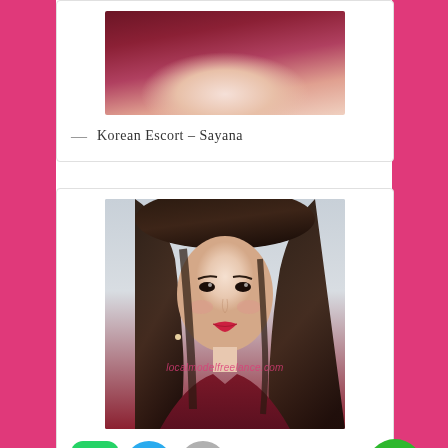[Figure (photo): Partial photo of a person in a dark red/maroon velvet top, cropped to show upper chest area only]
— Korean Escort – Sayana
[Figure (photo): Portrait photo of a young Asian woman with long dark brown hair, wearing a dark red/maroon velvet dress, with red lipstick, with watermark text 'localmodelfreelance.com'. Below the photo are app buttons: WhatsApp (green), Telegram (blue), scroll-up (grey), and a phone/call button (green).]